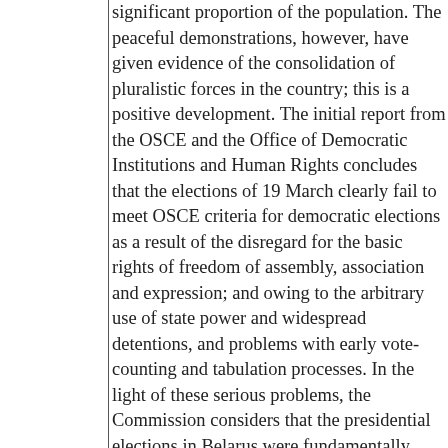significant proportion of the population. The peaceful demonstrations, however, have given evidence of the consolidation of pluralistic forces in the country; this is a positive development. The initial report from the OSCE and the Office of Democratic Institutions and Human Rights concludes that the elections of 19 March clearly fail to meet OSCE criteria for democratic elections as a result of the disregard for the basic rights of freedom of assembly, association and expression; and owing to the arbitrary use of state power and widespread detentions, and problems with early vote-counting and tabulation processes. In the light of these serious problems, the Commission considers that the presidential elections in Belarus were fundamentally flawed. This raises serious doubts as to whether the results of the elections truly reflect the will of the people of Belarus. The Commission also deplores the non-